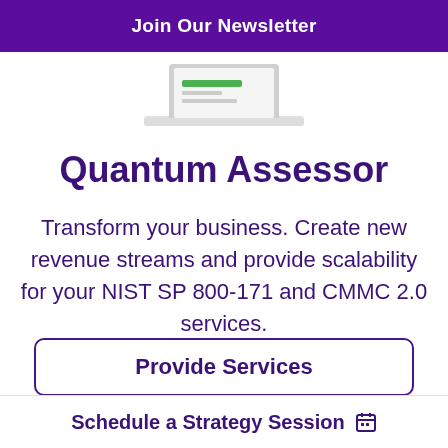Join Our Newsletter
[Figure (illustration): Partial laptop illustration shown from above, white device with green element on screen]
Quantum Assessor
Transform your business. Create new revenue streams and provide scalability for your NIST SP 800-171 and CMMC 2.0 services.
Provide Services
[Figure (illustration): Partial laptop illustration shown from below/behind, partially visible]
Schedule a Strategy Session